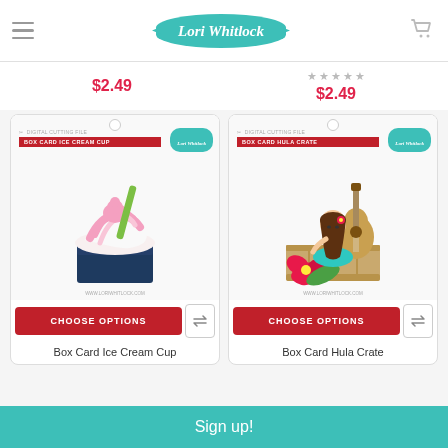Lori Whitlock
$2.49
$2.49
[Figure (photo): Box Card Ice Cream Cup product card showing a soft-serve ice cream in a navy blue box, with Lori Whitlock branding badge]
[Figure (photo): Box Card Hula Crate product card showing a cartoon hula girl with ukulele and hibiscus flower in a wooden crate, with Lori Whitlock branding badge]
CHOOSE OPTIONS
CHOOSE OPTIONS
Box Card Ice Cream Cup
Box Card Hula Crate
Sign up!